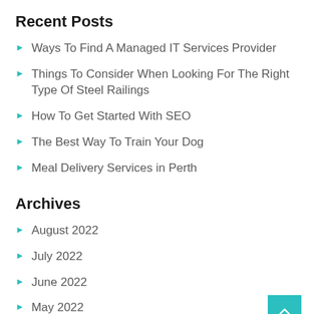Recent Posts
Ways To Find A Managed IT Services Provider
Things To Consider When Looking For The Right Type Of Steel Railings
How To Get Started With SEO
The Best Way To Train Your Dog
Meal Delivery Services in Perth
Archives
August 2022
July 2022
June 2022
May 2022